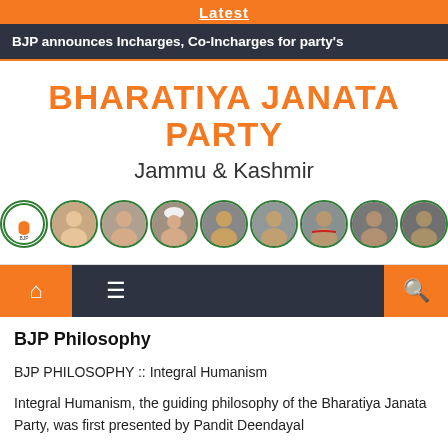Latest
BJP announces Incharges, Co-Incharges for party's
BHARATIYA JANATA PARTY
Jammu & Kashmir
[Figure (illustration): Row of 9 circular portrait images including BJP logo and political figures with green circle borders]
BJP Philosophy
BJP PHILOSOPHY :: Integral Humanism
Integral Humanism, the guiding philosophy of the Bharatiya Janata Party, was first presented by Pandit Deendayal